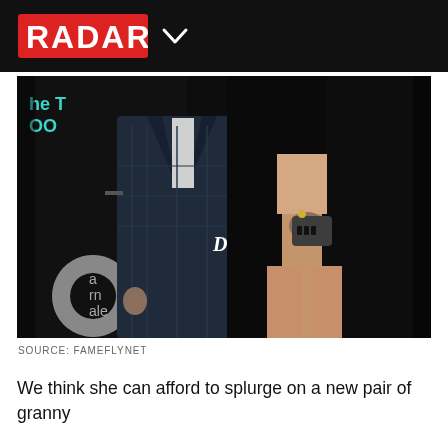RADAR
[Figure (photo): A red carpet event photo showing two people standing. On the left is a man in a dark navy plaid suit. On the right is a woman in a black blazer-style outfit with a high slit revealing her legs and what appears to be shapewear. The background shows signage for a Disney movie 'Alexander and the Terrible, Horrible, No Good, Very Bad Day'.]
SOURCE: FAMEFLYNET
We think she can afford to splurge on a new pair of granny